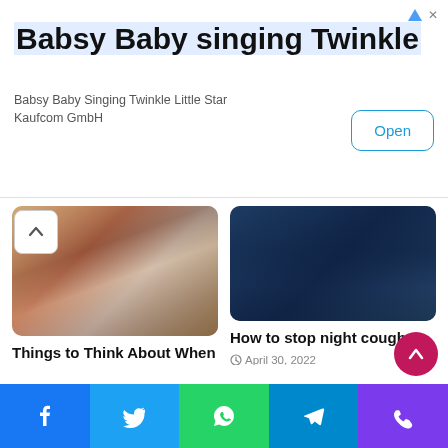[Figure (screenshot): Advertisement banner for 'Babsy Baby singing Twinkle' app with Open button]
Babsy Baby singing Twinkle
Babsy Baby Singing Twinkle Little Star Kaufcom GmbH
[Figure (photo): People sitting with tablet device - retirement planning article image]
Things to Think About When Choosing Where you Will Live in Retirement
May 28, 2022
[Figure (photo): Person lying down with dark blue background - night cough article image]
How to stop night cough
April 30, 2022
Leave a Reply
[Figure (screenshot): Social media sharing bar with Facebook, Twitter, WhatsApp, Telegram, and Phone icons]